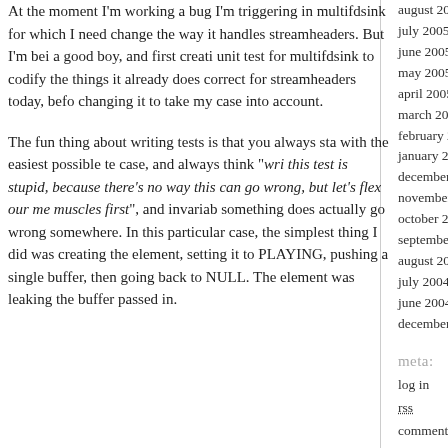At the moment I'm working a bug I'm triggering in multifdsink for which I need change the way it handles streamheaders. But I'm being a good boy, and first creating unit test for multifdsink to codify the things it already does correct for streamheaders today, before changing it to take my case into account.
The fun thing about writing tests is that you always start with the easiest possible test case, and always think "writing this test is stupid, because there's no way this can go wrong, but let's flex our memory muscles first", and invariably something does actually go wrong somewhere. In this particular case, the simplest thing I did was creating the element, setting it to PLAYING, pushing a single buffer, then going back to NULL. The element was leaking the buffer passed in.
august 2005
july 2005
june 2005
may 2005
april 2005
march 2005
february 2005
january 2005
december 2004
november 2004
october 2004
september 2004
august 2004
july 2004
june 2004
december 2003
meta:
log in
rss
comments rss
valid xhtml
xfn
wp